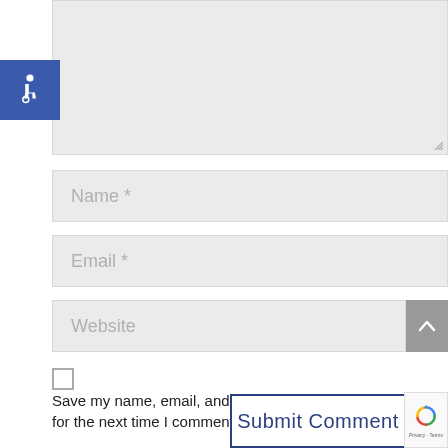[Figure (other): Comment form textarea (gray background, empty, with resize handle)]
[Figure (other): Accessibility icon - wheelchair symbol on blue background]
Name *
Email *
Website
[Figure (other): Gray back-to-top button with upward caret arrow]
Save my name, email, and website in this browser for the next time I comment.
Submit Comment
[Figure (other): reCAPTCHA badge with logo and Privacy - Terms text]